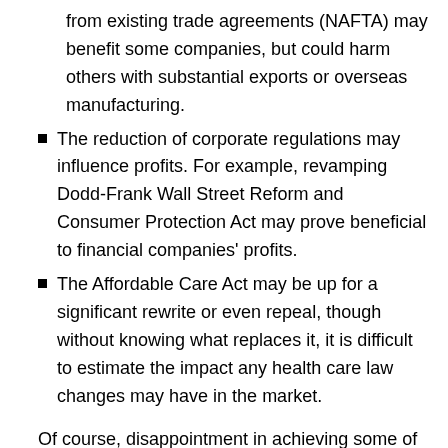from existing trade agreements (NAFTA) may benefit some companies, but could harm others with substantial exports or overseas manufacturing.
The reduction of corporate regulations may influence profits. For example, revamping Dodd-Frank Wall Street Reform and Consumer Protection Act may prove beneficial to financial companies' profits.
The Affordable Care Act may be up for a significant rewrite or even repeal, though without knowing what replaces it, it is difficult to estimate the impact any health care law changes may have in the market.
Of course, disappointment in achieving some of the anticipated changes that have driven markets higher since the election may be cause for a broad price retreat.
In any event, experience teaches investors that